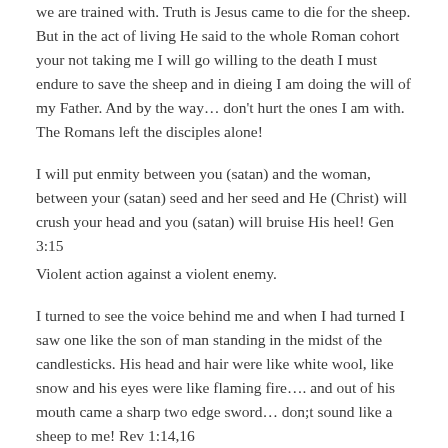we are trained with. Truth is Jesus came to die for the sheep. But in the act of living He said to the whole Roman cohort your not taking me I will go willing to the death I must endure to save the sheep and in dieing I am doing the will of my Father. And by the way… don't hurt the ones I am with. The Romans left the disciples alone!
I will put enmity between you (satan) and the woman, between your (satan) seed and her seed and He (Christ) will crush your head and you (satan) will bruise His heel! Gen 3:15
Violent action against a violent enemy.
I turned to see the voice behind me and when I had turned I saw one like the son of man standing in the midst of the candlesticks. His head and hair were like white wool, like snow and his eyes were like flaming fire…. and out of his mouth came a sharp two edge sword… don;t sound like a sheep to me! Rev 1:14,16
Its just like the sheep to not see the war that is brought to